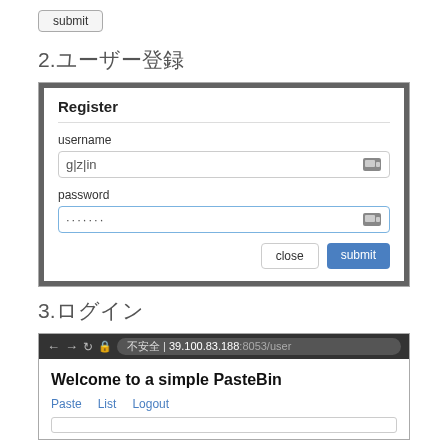[Figure (screenshot): A submit button (top of page, partially visible)]
2.ユーザー登録
[Figure (screenshot): Register modal dialog with username field showing 'g|z|in' and password field with dots, plus close and submit buttons]
3.ログイン
[Figure (screenshot): Browser screenshot showing address bar with 39.100.83.188:8053/user, page title 'Welcome to a simple PasteBin', navigation links Paste, List, Logout, and a text input area]